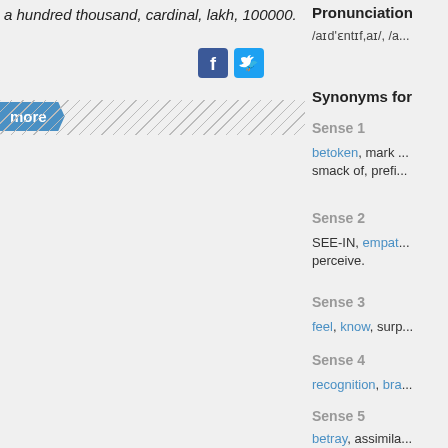a hundred thousand, cardinal, lakh, 100000.
more
[Figure (other): Facebook and Twitter social share icons]
[Figure (other): Hatched/diagonal striped area (advertisement or image placeholder)]
Pronunciation
/aɪd'ɛntɪf,aɪ/, /a...
Synonyms for
Sense 1
betoken, mark ... smack of, prefi...
Sense 2
SEE-IN, empat... perceive.
Sense 3
feel, know, surp...
Sense 4
recognition, bra...
Sense 5
betray, assimila...